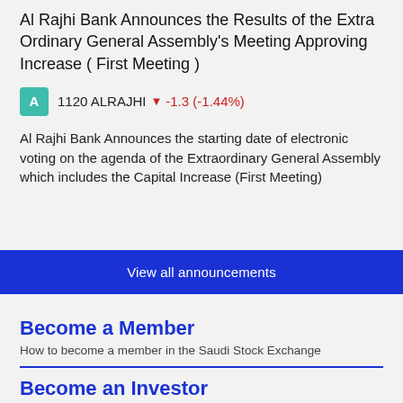Al Rajhi Bank Announces the Results of the Extra Ordinary General Assembly's Meeting Approving Increase ( First Meeting )
1120 ALRAJHI -1.3 (-1.44%)
Al Rajhi Bank Announces the starting date of electronic voting on the agenda of the Extraordinary General Assembly which includes the Capital Increase (First Meeting)
View all announcements
Become a Member
How to become a member in the Saudi Stock Exchange
Become an Investor
How to become a investor in the Saudi Stock Exchange